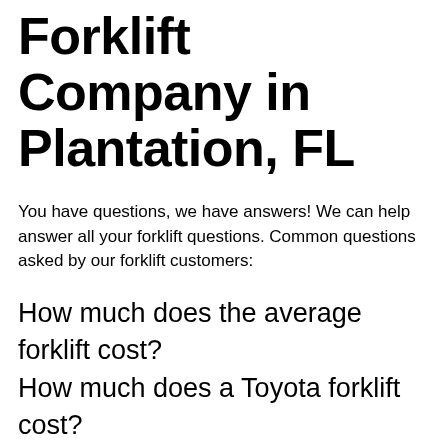Forklift Company in Plantation, FL
You have questions, we have answers! We can help answer all your forklift questions. Common questions asked by our forklift customers:
How much does the average forklift cost?
How much does a Toyota forklift cost?
How many hours will a forklift last?
How much does it cost to rent a lull?
How much does a caterpillar forklift cost?